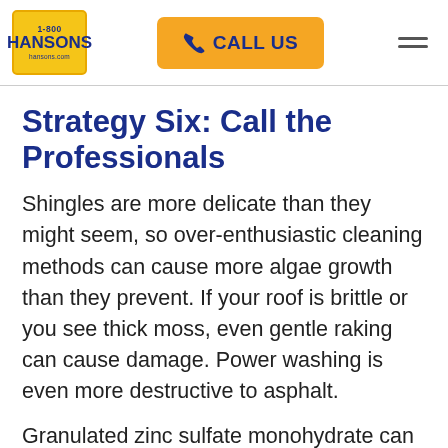[Figure (logo): 1-800 HANSONS logo in blue text on yellow background with hansons.com URL]
[Figure (other): Orange CALL US button with phone icon]
[Figure (other): Hamburger menu icon (three horizontal lines)]
Strategy Six: Call the Professionals
Shingles are more delicate than they might seem, so over-enthusiastic cleaning methods can cause more algae growth than they prevent. If your roof is brittle or you see thick moss, even gentle raking can cause damage. Power washing is even more destructive to asphalt.
Granulated zinc sulfate monohydrate can